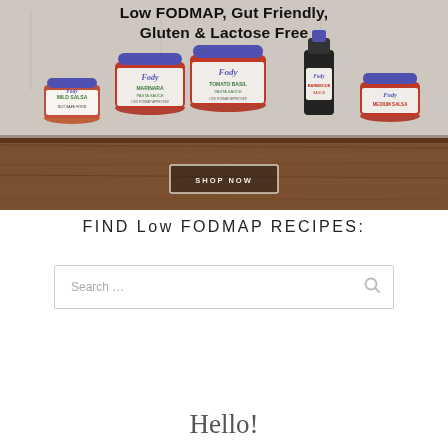[Figure (photo): Fody food product jars (Mild Salsa, Marinara, Tomato Basil Pasta Sauce, Barbecue Sauce, Medium Salsa) arranged on a wooden shelf with a light stone/concrete wall background. A 'SHOP NOW' button is overlaid on the bottom center of the image.]
Low FODMAP, Gut Friendly, Gluten & Lactose Free
FIND Low FODMAP RECIPES:
Search ...
Hello!